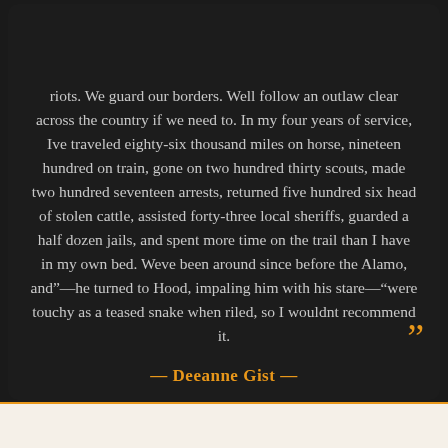riots. We guard our borders. Well follow an outlaw clear across the country if we need to. In my four years of service, Ive traveled eighty-six thousand miles on horse, nineteen hundred on train, gone on two hundred thirty scouts, made two hundred seventeen arrests, returned five hundred six head of stolen cattle, assisted forty-three local sheriffs, guarded a half dozen jails, and spent more time on the trail than I have in my own bed. Weve been around since before the Alamo, and—he turned to Hood, impaling him with his stare—“were touchy as a teased snake when riled, so I wouldnt recommend it.”
— Deeanne Gist —